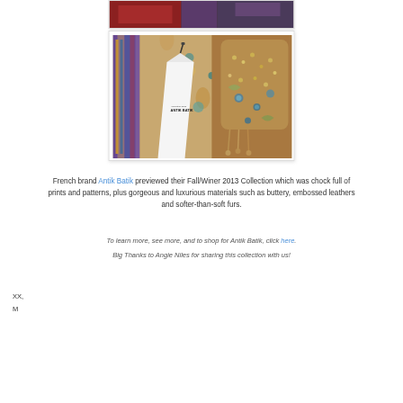[Figure (photo): Partial view of top photo card showing colorful fabrics/textiles at the top of the page]
[Figure (photo): Photo showing an Antik Batik branded shopping bag/packaging among colorful embroidered textiles, pillows, and purses with beading and decorative elements]
French brand Antik Batik previewed their Fall/Winer 2013 Collection which was chock full of prints and patterns, plus gorgeous and luxurious materials such as buttery, embossed leathers and softer-than-soft furs.
To learn more, see more, and to shop for Antik Batik, click here.
Big Thanks to Angie Niles for sharing this collection with us!
XX,
M